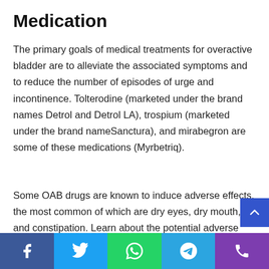Medication
The primary goals of medical treatments for overactive bladder are to alleviate the associated symptoms and to reduce the number of episodes of urge and incontinence. Tolterodine (marketed under the brand names Detrol and Detrol LA), trospium (marketed under the brand name Sanctura), and mirabegron are some of these medications (Myrbetriq).
Some OAB drugs are known to induce adverse effects, the most common of which are dry eyes, dry mouth, and constipation. Learn about the potential adverse effects of the drug for overactive bladder, as well as any other relevant factors.